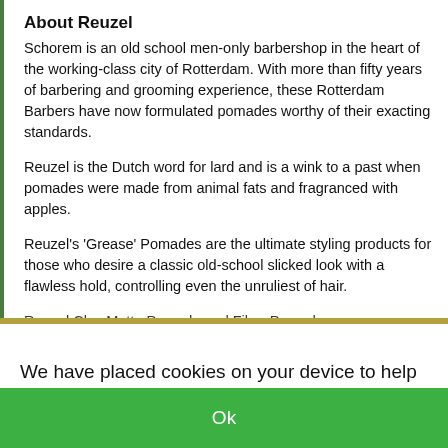About Reuzel
Schorem is an old school men-only barbershop in the heart of the working-class city of Rotterdam. With more than fifty years of barbering and grooming experience, these Rotterdam Barbers have now formulated pomades worthy of their exacting standards.
Reuzel is the Dutch word for lard and is a wink to a past when pomades were made from animal fats and fragranced with apples.
Reuzel's 'Grease' Pomades are the ultimate styling products for those who desire a classic old-school slicked look with a flawless hold, controlling even the unruliest of hair.
Reuzel Clay Matte Pomade and Fiber Pomade are
We have placed cookies on your device to help make this website better.
Ok